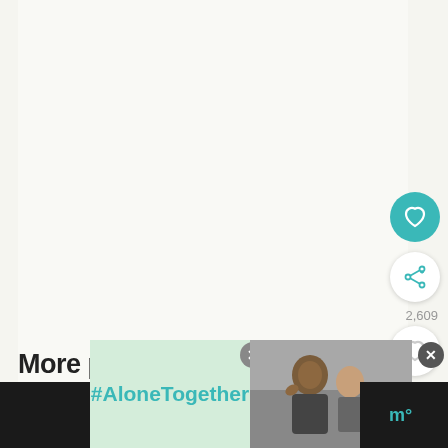[Figure (screenshot): Mobile app screenshot showing a recipe page with a large light-colored content area, social interaction buttons on the right sidebar (teal heart/favorite button, white share button, white heart button with count 2,609, gray search/temperature button), and partial text 'More pork recipes' at the bottom. An advertisement overlay at the bottom shows '#AloneTogether' on a green background alongside a photo of a man and child waving.]